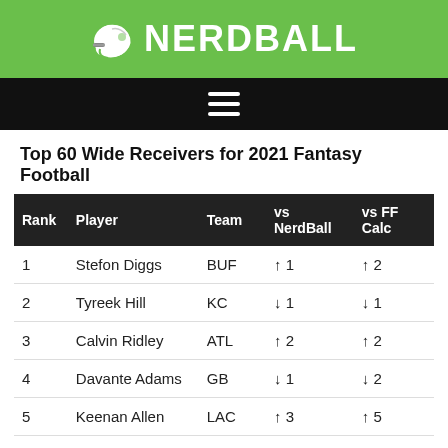🏈 NERDBALL
Top 60 Wide Receivers for 2021 Fantasy Football
| Rank | Player | Team | vs NerdBall | vs FF Calc |
| --- | --- | --- | --- | --- |
| 1 | Stefon Diggs | BUF | ↑ 1 | ↑ 2 |
| 2 | Tyreek Hill | KC | ↓ 1 | ↓ 1 |
| 3 | Calvin Ridley | ATL | ↑ 2 | ↑ 2 |
| 4 | Davante Adams | GB | ↓ 1 | ↓ 2 |
| 5 | Keenan Allen | LAC | ↑ 3 | ↑ 5 |